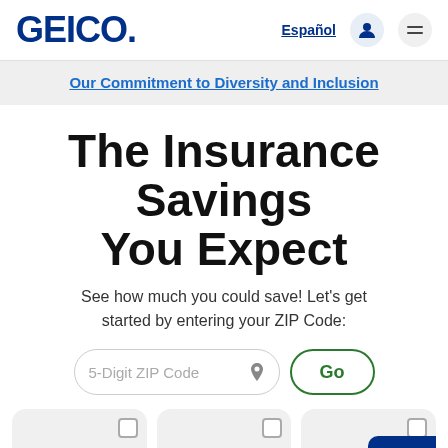GEICO.
Español
Our Commitment to Diversity and Inclusion
The Insurance Savings You Expect
See how much you could save! Let's get started by entering your ZIP Code:
5-Digit ZIP Code
Go
[Figure (illustration): Three insurance category cards: Auto (car icon), Home (house icon), Renters/Property (building icon). Each card has a checkbox. A GEICO speech bubble badge overlaps the bottom right.]